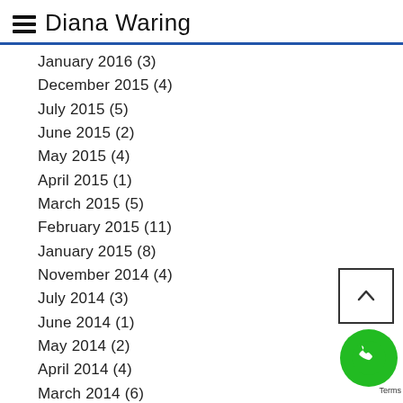Diana Waring
January 2016 (3)
December 2015 (4)
July 2015 (5)
June 2015 (2)
May 2015 (4)
April 2015 (1)
March 2015 (5)
February 2015 (11)
January 2015 (8)
November 2014 (4)
July 2014 (3)
June 2014 (1)
May 2014 (2)
April 2014 (4)
March 2014 (6)
January 2014 (1)
September 2013 (1)